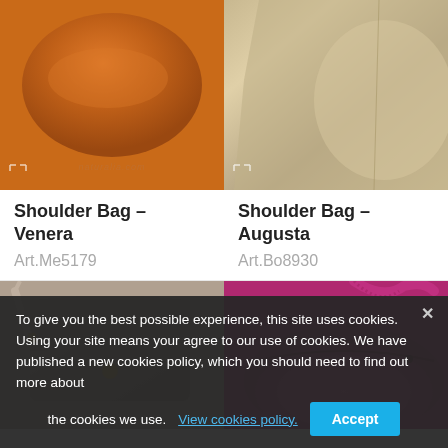[Figure (photo): Brown/tan leather shoulder bag (Venera), top-left product image]
Shoulder Bag – Venera
Art.Me5179
[Figure (photo): Metallic gold/silver textured leather shoulder bag (Augusta), top-right product image]
Shoulder Bag – Augusta
Art.Bo8930
[Figure (photo): Taupe/grey crossbody bag with flap and gold hardware, bottom-left product image]
[Figure (photo): Fuchsia/magenta belt bag or moon bag with strap, bottom-right product image]
To give you the best possible experience, this site uses cookies. Using your site means your agree to our use of cookies. We have published a new cookies policy, which you should need to find out more about the cookies we use. View cookies policy.